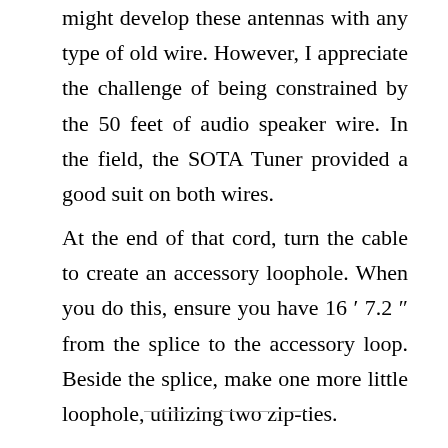might develop these antennas with any type of old wire. However, I appreciate the challenge of being constrained by the 50 feet of audio speaker wire. In the field, the SOTA Tuner provided a good suit on both wires.
At the end of that cord, turn the cable to create an accessory loophole. When you do this, ensure you have 16 ′ 7.2 ″ from the splice to the accessory loop. Beside the splice, make one more little loophole, utilizing two zip-ties.